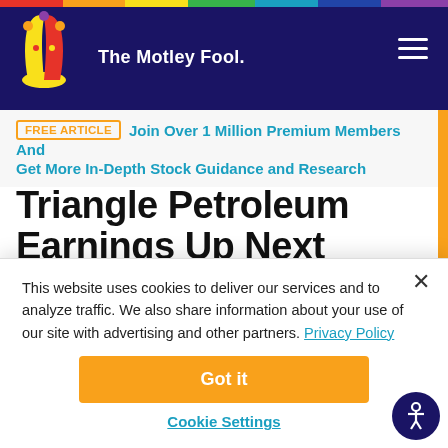The Motley Fool
FREE ARTICLE  Join Over 1 Million Premium Members And Get More In-Depth Stock Guidance and Research
Triangle Petroleum Earnings Up Next
By Seth Jayson - Updated Apr 10, 2017 at 1:52PM
This website uses cookies to deliver our services and to analyze traffic. We also share information about your use of our site with advertising and other partners. Privacy Policy
Got it
Cookie Settings